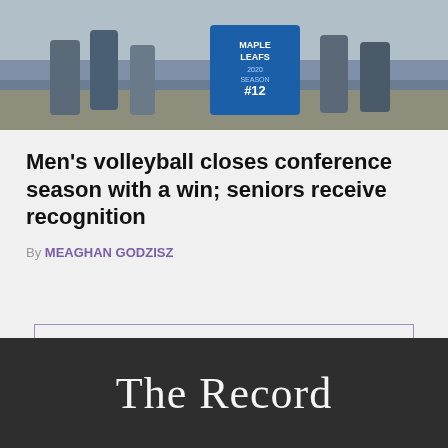[Figure (photo): Sports photo of people on a basketball/volleyball court holding a Maple Leafs #12 sign/banner, gym interior visible in background]
Men's volleyball closes conference season with a win; seniors receive recognition
By MEAGHAN GODZISZ
MORE STORIES
The Record